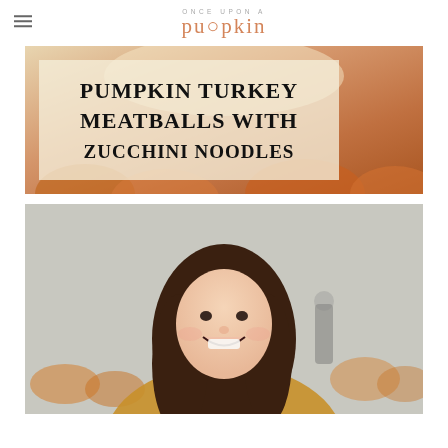ONCE UPON A pumpkin
[Figure (photo): Blog header image showing text overlay 'PUMPKIN TURKEY MEATBALLS WITH ZUCCHINI NOODLES' over a background photo of pumpkins]
[Figure (photo): Portrait photo of a smiling young woman with long brown hair at a pumpkin patch, wearing a golden/mustard top, with blurred pumpkins and people in the background]